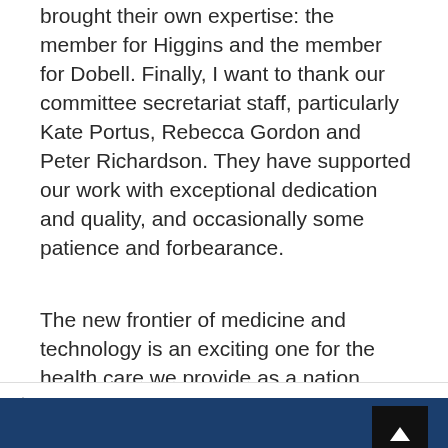brought their own expertise: the member for Higgins and the member for Dobell. Finally, I want to thank our committee secretariat staff, particularly Kate Portus, Rebecca Gordon and Peter Richardson. They have supported our work with exceptional dedication and quality, and occasionally some patience and forbearance.
The new frontier of medicine and technology is an exciting one for the health care we provide as a nation. Acting now to build on our obvious strengths in health will have enduring benefits for all Australians, for this generation and future generations to come. I commend this report to the House.
/ Uncategorised / Health, Aged Care and Sport Committee Report